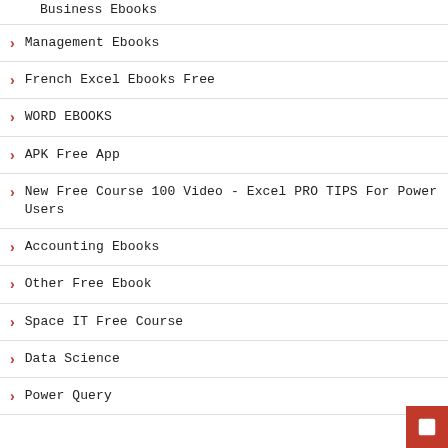Business Ebooks
Management Ebooks
French Excel Ebooks Free
WORD EBOOKS
APK Free App
New Free Course 100 Video - Excel PRO TIPS For Power Users
Accounting Ebooks
Other Free Ebook
Space IT Free Course
Data Science
Power Query